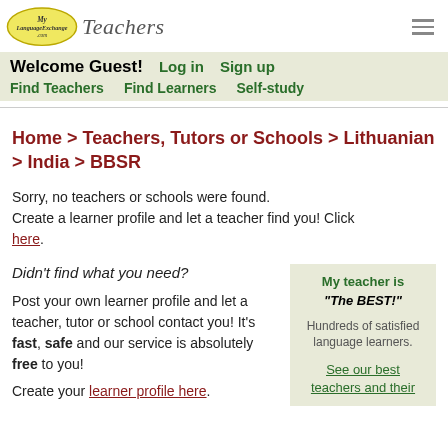MyLanguageExchange.com Teachers
Welcome Guest! Log in  Sign up
Find Teachers   Find Learners   Self-study
Home > Teachers, Tutors or Schools > Lithuanian > India > BBSR
Sorry, no teachers or schools were found. Create a learner profile and let a teacher find you! Click here.
Didn't find what you need?
Post your own learner profile and let a teacher, tutor or school contact you! It's fast, safe and our service is absolutely free to you!
Create your learner profile here.
My teacher is "The BEST!" Hundreds of satisfied language learners. See our best teachers and their